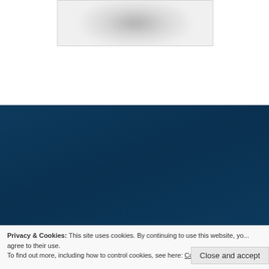[Figure (photo): Blurred/redacted image at the top of the page inside a bordered box]
Let’s Connect
Privacy & Cookies: This site uses cookies. By continuing to use this website, you agree to their use.
To find out more, including how to control cookies, see here: Cookie Policy
Close and accept